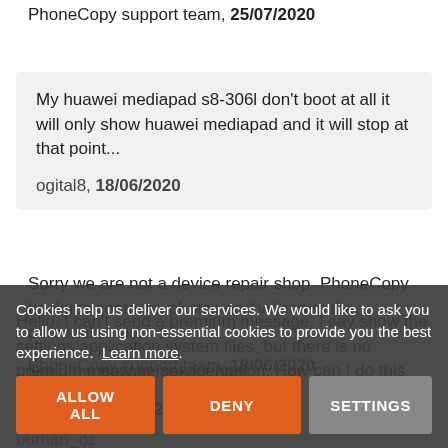PhoneCopy support team, 25/07/2020
My huawei mediapad s8-306l don't boot at all it will only show huawei mediapad and it will stop at that point...
ogital8, 18/06/2020
Sorry we are not a device repair shop. PhoneCopy backups contacts, photos and videos to the personal cloud.
PhoneCopy support team, 18/06/2020
Send me how to make it boot
ogital8, 18/06/2020
Hello. I can't send a premium message. I say show the settings application system files, but there is no premium message service option. How can I do this setting
burhan_oz 2...
Cookies help us deliver our services. We would like to ask you to allow us using non-essential cookies to provide you the best experience. Learn more.